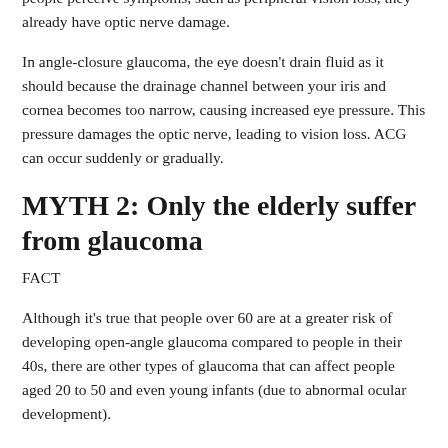the optic nerve. OAG develops slowly, and usually by the time people perceive symptoms, such as peripheral vision loss, they already have optic nerve damage.
In angle-closure glaucoma, the eye doesn't drain fluid as it should because the drainage channel between your iris and cornea becomes too narrow, causing increased eye pressure. This pressure damages the optic nerve, leading to vision loss. ACG can occur suddenly or gradually.
MYTH 2: Only the elderly suffer from glaucoma
FACT
Although it's true that people over 60 are at a greater risk of developing open-angle glaucoma compared to people in their 40s, there are other types of glaucoma that can affect people aged 20 to 50 and even young infants (due to abnormal ocular development).
In addition to age, those with a higher risk of developing glaucoma include: